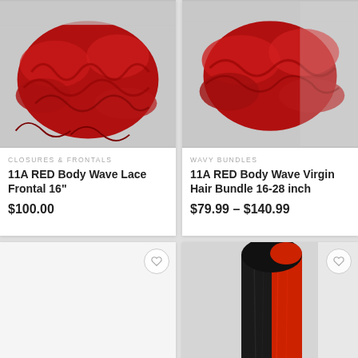[Figure (photo): Red body wave lace frontal hair product on grey background]
CLOSURES & FRONTALS
11A RED Body Wave Lace Frontal 16"
$100.00
[Figure (photo): Red body wave virgin hair bundle on grey background]
WAVY BUNDLES
11A RED Body Wave Virgin Hair Bundle 16-28 inch
$79.99 – $140.99
[Figure (photo): Partial view of a blank/white product card with wishlist heart button]
[Figure (photo): Half black half red straight hair wig product with wishlist heart button]